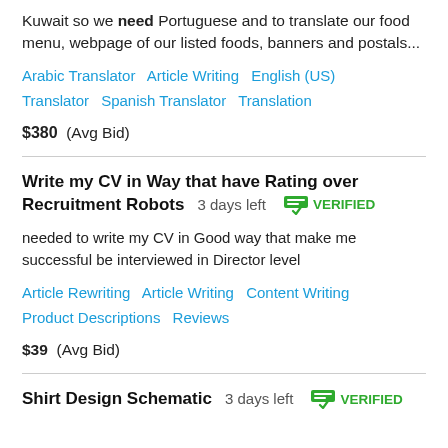Kuwait so we need Portuguese and to translate our food menu, webpage of our listed foods, banners and postals...
Arabic Translator   Article Writing   English (US)   Translator   Spanish Translator   Translation
$380  (Avg Bid)
Write my CV in Way that have Rating over Recruitment Robots   3 days left   VERIFIED
needed to write my CV in Good way that make me successful be interviewed in Director level
Article Rewriting   Article Writing   Content Writing   Product Descriptions   Reviews
$39  (Avg Bid)
Shirt Design Schematic   3 days left   VERIFIED